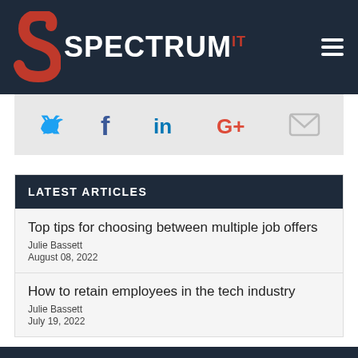[Figure (logo): Spectrum IT logo with red S icon and white SPECTRUM text with red IT superscript on dark navy background, with hamburger menu icon on right]
[Figure (infographic): Social sharing icons bar: Twitter (blue bird), Facebook (blue f), LinkedIn (blue in), Google+ (red G+), Email (grey envelope) on light grey background]
LATEST ARTICLES
Top tips for choosing between multiple job offers
Julie Bassett
August 08, 2022
How to retain employees in the tech industry
Julie Bassett
July 19, 2022